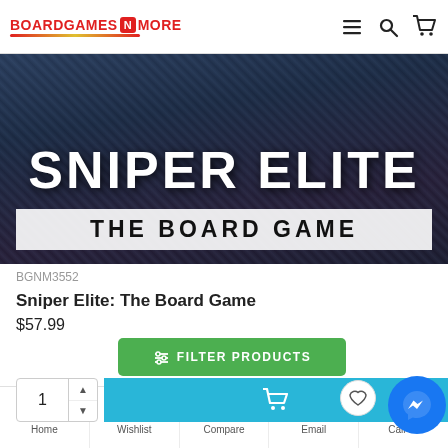[Figure (screenshot): BoardGames N More website header with logo and navigation icons (hamburger menu, search, cart)]
[Figure (photo): Sniper Elite: The Board Game product image — dark military figure background with large white text 'SNIPER ELITE' and banner 'THE BOARD GAME']
BGNM3552
Sniper Elite: The Board Game
$57.99
[Figure (screenshot): Filter Products green button overlay]
[Figure (screenshot): Add to cart blue button with cart icon, quantity box showing 1, and Facebook Messenger chat button]
[Figure (screenshot): Bottom navigation bar with Home, Wishlist, Compare, Email, Call us icons]